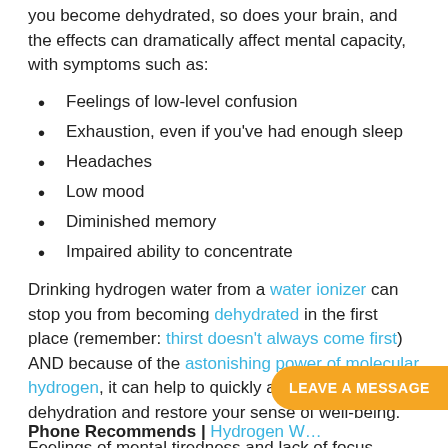you become dehydrated, so does your brain, and the effects can dramatically affect mental capacity, with symptoms such as:
Feelings of low-level confusion
Exhaustion, even if you've had enough sleep
Headaches
Low mood
Diminished memory
Impaired ability to concentrate
Drinking hydrogen water from a water ionizer can stop you from becoming dehydrated in the first place (remember: thirst doesn't always come first) AND because of the astonishing power of molecular hydrogen, it can help to quickly alleviate dehydration and restore your sense of well-being.
Feelings of mental tiredness and lack of focus mean that your body is trying to tell you something, so take the time to listen and respond accordingly.
Phone Recommends | Hydrogen W…